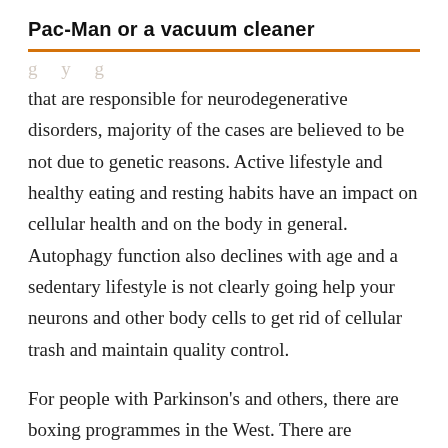Pac-Man or a vacuum cleaner
that are responsible for neurodegenerative disorders, majority of the cases are believed to be not due to genetic reasons. Active lifestyle and healthy eating and resting habits have an impact on cellular health and on the body in general. Autophagy function also declines with age and a sedentary lifestyle is not clearly going help your neurons and other body cells to get rid of cellular trash and maintain quality control.
For people with Parkinson's and others, there are boxing programmes in the West. There are